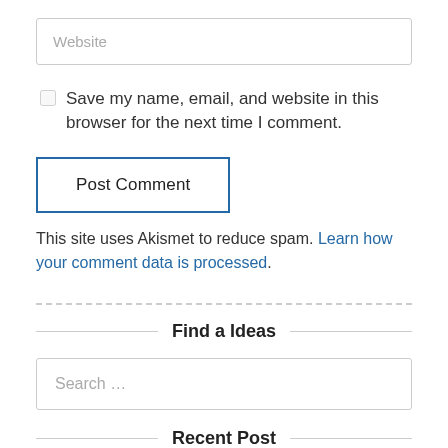Website
Save my name, email, and website in this browser for the next time I comment.
Post Comment
This site uses Akismet to reduce spam. Learn how your comment data is processed.
Find a Ideas
Search …
Recent Post